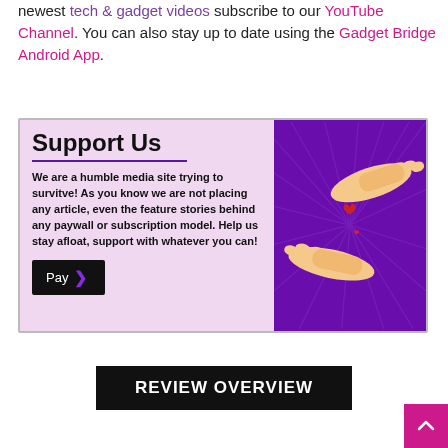newest tech & gadget videos subscribe to our YouTube Channel. You can also stay up to date using the Gadget Bridge Android App.
[Figure (infographic): Support Us banner with text: 'We are a humble media site trying to survitve! As you know we are not placing any article, even the feature stories behind any paywall or subscription model. Help us stay afloat, support with whatever you can!' and a Pay button, alongside an illustration of two hands exchanging a heart on a purple background.]
REVIEW OVERVIEW